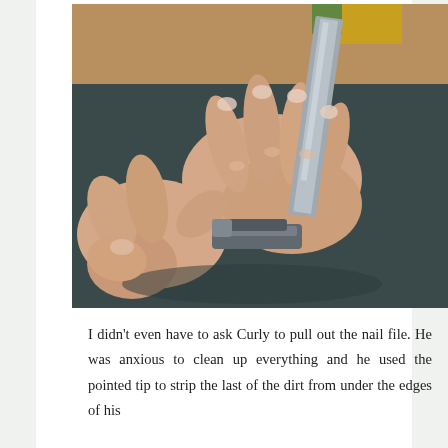[Figure (photo): Close-up photograph of two hands holding a nail clipper with the nail file extended. The person appears to be manipulating the file/cleaning tool portion of the nail clipper. Background shows dark clothing and a wooden surface.]
I didn't even have to ask Curly to pull out the nail file. He was anxious to clean up everything and he used the pointed tip to strip the last of the dirt from under the edges of his